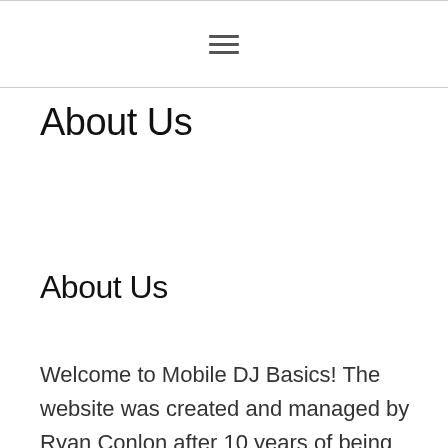☰
About Us
About Us
Welcome to Mobile DJ Basics! The website was created and managed by Ryan Conlon after 10 years of being a highly rated DJ...